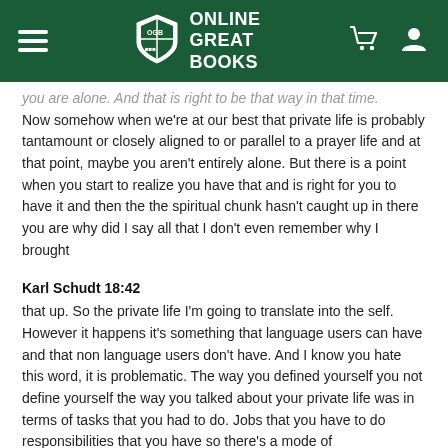Online Great Books
you are alone. And that is right to be that way in that time. Now somehow when we're at our best that private life is probably tantamount or closely aligned to or parallel to a prayer life and at that point, maybe you aren't entirely alone. But there is a point when you start to realize you have that and is right for you to have it and then the the spiritual chunk hasn't caught up in there you are why did I say all that I don't even remember why I brought
Karl Schudt 18:42
that up. So the private life I'm going to translate into the self. However it happens it's something that language users can have and that non language users don't have. And I know you hate this word, it is problematic. The way you defined yourself you not define yourself the way you talked about your private life was in terms of tasks that you had to do. Jobs that you have to do responsibilities that you have so there's a mode of